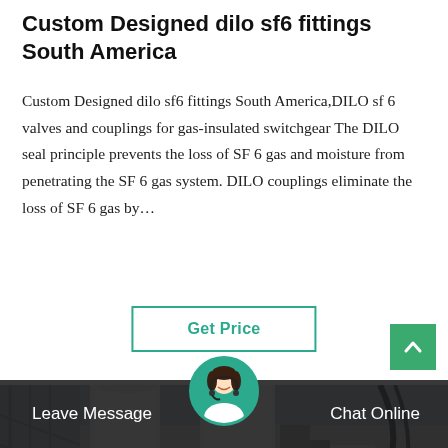Custom Designed dilo sf6 fittings South America
Custom Designed dilo sf6 fittings South America,DILO sf 6 valves and couplings for gas-insulated switchgear The DILO seal principle prevents the loss of SF 6 gas and moisture from penetrating the SF 6 gas system. DILO couplings eliminate the loss of SF 6 gas by…
Get Price
[Figure (photo): Industrial gas-insulated switchgear installation showing white cylindrical pipes, flanges, conduits, and electrical equipment in an industrial facility. A worker is visible in the background.]
Leave Message
Chat Online